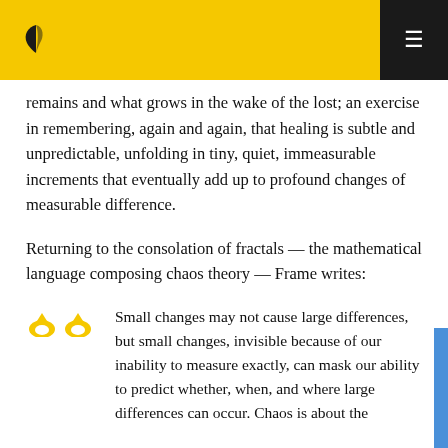remains and what grows in the wake of the lost; an exercise in remembering, again and again, that healing is subtle and unpredictable, unfolding in tiny, quiet, immeasurable increments that eventually add up to profound changes of measurable difference.
Returning to the consolation of fractals — the mathematical language composing chaos theory — Frame writes:
Small changes may not cause large differences, but small changes, invisible because of our inability to measure exactly, can mask our ability to predict whether, when, and where large differences can occur. Chaos is about the